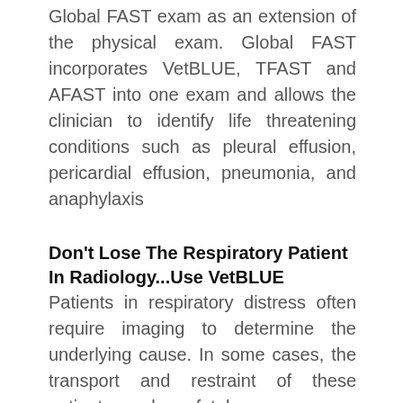Global FAST exam as an extension of the physical exam. Global FAST incorporates VetBLUE, TFAST and AFAST into one exam and allows the clinician to identify life threatening conditions such as pleural effusion, pericardial effusion, pneumonia, and anaphylaxis
Don't Lose The Respiratory Patient In Radiology...Use VetBLUE
Patients in respiratory distress often require imaging to determine the underlying cause. In some cases, the transport and restraint of these patients can have fatal consequences. Using the VetBLUE exam during examination can avoid patient distress and provide key information in order to expedite therapy.